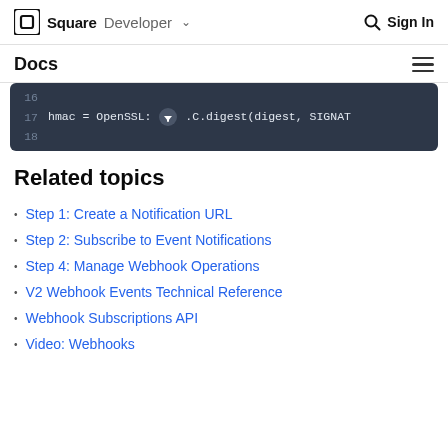Square Developer  Sign In
Docs
[Figure (screenshot): Code block showing lines 16-18 of Ruby code: line 17 contains 'hmac = OpenSSL::[download icon].C.digest(digest, SIGNAT' with a dark navy background]
Related topics
Step 1: Create a Notification URL
Step 2: Subscribe to Event Notifications
Step 4: Manage Webhook Operations
V2 Webhook Events Technical Reference
Webhook Subscriptions API
Video: Webhooks